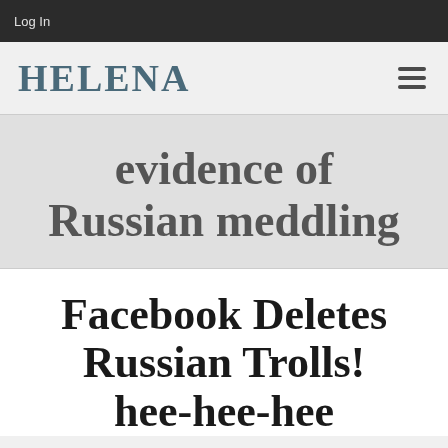Log In
HELENA
evidence of Russian meddling
Facebook Deletes Russian Trolls! hee-hee-hee